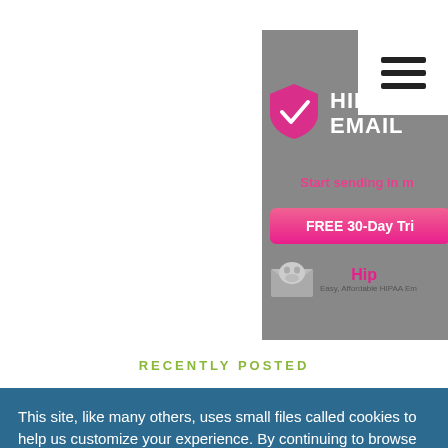[Figure (screenshot): Partial screenshot of a HIPAA email service advertisement banner (MailHippo) showing shield logo, HIPAA EMAIL heading, 'Start sending in m...' tagline, 'FREE 30-Day Tri...' button, and MailHippo logo with tagline 'Easy, Affordable HIPAA Em...']
RECENTLY POSTED
This site, like many others, uses small files called cookies to help us customize your experience. By continuing to browse the site you are agreeing to our use of cookies. For information about how to change your cookie settings, please see our cookie policy.
I ACCEPT